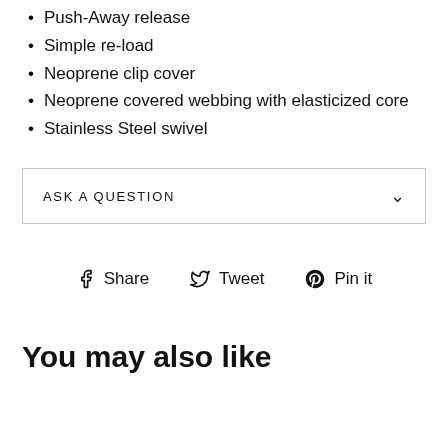Push-Away release
Simple re-load
Neoprene clip cover
Neoprene covered webbing with elasticized core
Stainless Steel swivel
ASK A QUESTION
Share  Tweet  Pin it